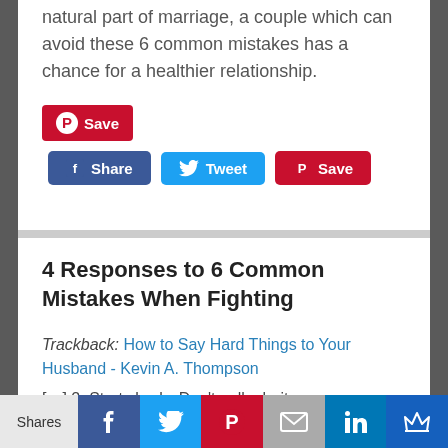natural part of marriage, a couple which can avoid these 6 common mistakes has a chance for a healthier relationship.
[Figure (other): Pinterest Save button (red with Pinterest logo)]
[Figure (other): Social share buttons row: Facebook Share, Twitter Tweet, Pinterest Save]
4 Responses to 6 Common Mistakes When Fighting
Trackback: How to Say Hard Things to Your Husband - Kevin A. Thompson
[…] 2. Start slowly. Don't pull a bait
[Figure (other): Bottom social sharing bar with Shares label, Facebook, Twitter, Pinterest, Email, LinkedIn, and Crown icons]